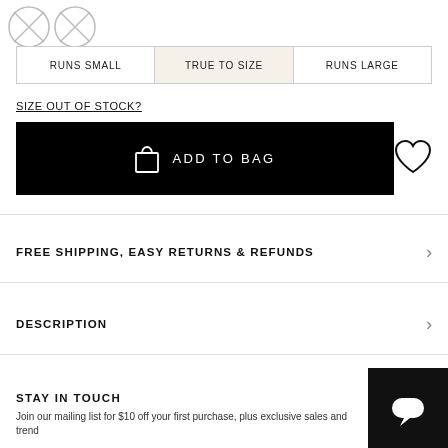[Figure (illustration): Two circular placeholder/avatar icons with diagonal lines, partially visible at top-left]
| RUNS SMALL | TRUE TO SIZE | RUNS LARGE |
| --- | --- | --- |
SIZE OUT OF STOCK?
[Figure (other): Black 'Add to Bag' button with shopping bag icon and text 'ADD TO BAG', plus a heart/wishlist icon to the right]
FREE SHIPPING, EASY RETURNS & REFUNDS
DESCRIPTION
STAY IN TOUCH
Join our mailing list for $10 off your first purchase, plus exclusive sales and trend
[Figure (other): Black chat/messaging widget button in bottom-right corner]